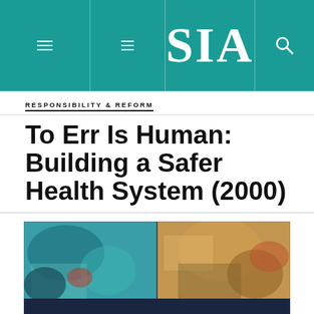SIA
RESPONSIBILITY & REFORM
To Err Is Human: Building a Safer Health System (2000)
[Figure (photo): Book cover of 'To Err Is Human: Building a Safer Health System' showing abstract colorful imagery with bold white text reading 'TO ERR IS HUMAN' at the bottom on a dark blue band.]